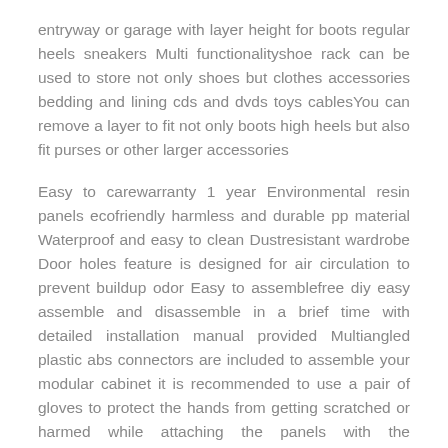entryway or garage with layer height for boots regular heels sneakers Multi functionalityshoe rack can be used to store not only shoes but clothes accessories bedding and lining cds and dvds toys cablesYou can remove a layer to fit not only boots high heels but also fit purses or other larger accessories
Easy to carewarranty 1 year Environmental resin panels ecofriendly harmless and durable pp material Waterproof and easy to clean Dustresistant wardrobe Door holes feature is designed for air circulation to prevent buildup odor Easy to assemblefree diy easy assemble and disassemble in a brief time with detailed installation manual provided Multiangled plastic abs connectors are included to assemble your modular cabinet it is recommended to use a pair of gloves to protect the hands from getting scratched or harmed while attaching the panels with the connectors
Spacious storagedimension 63w x 12d x 48h 8row